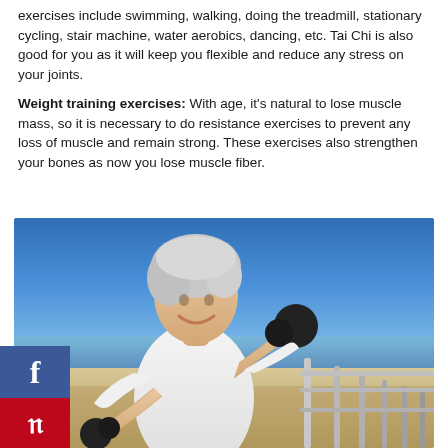exercises include swimming, walking, doing the treadmill, stationary cycling, stair machine, water aerobics, dancing, etc. Tai Chi is also good for you as it will keep you flexible and reduce any stress on your joints.
Weight training exercises: With age, it's natural to lose muscle mass, so it is necessary to do resistance exercises to prevent any loss of muscle and remain strong. These exercises also strengthen your bones as now you lose muscle fiber.
[Figure (photo): An older woman with short grey hair smiling and lifting dumbbells outdoors on a sunny day near a waterfront railing, wearing a white sleeveless top. Blue sky and water in background.]